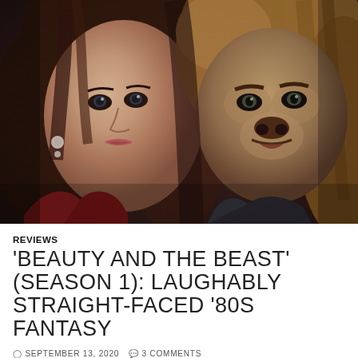[Figure (photo): Two actors from the TV show 'Beauty and the Beast' — a young woman with dark hair and a floral earring on the left, and a man in lion/beast makeup with long hair on the right, posed close together against a dark background.]
REVIEWS
'BEAUTY AND THE BEAST' (SEASON 1): LAUGHABLY STRAIGHT-FACED '80S FANTASY
SEPTEMBER 13, 2020   3 COMMENTS